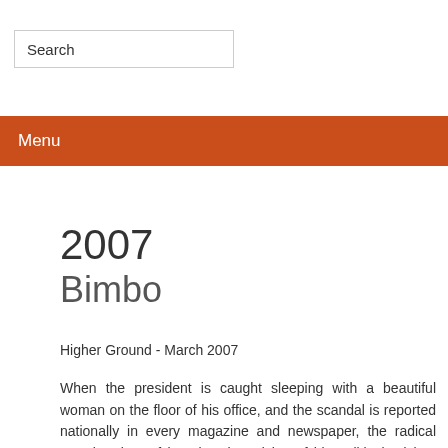Search
Menu
2007
Bimbo
Higher Ground - March 2007
When the president is caught sleeping with a beautiful woman on the floor of his office, and the scandal is reported nationally in every magazine and newspaper, the radical step is taken of ignoring the advice of his political advisor and releasing a media